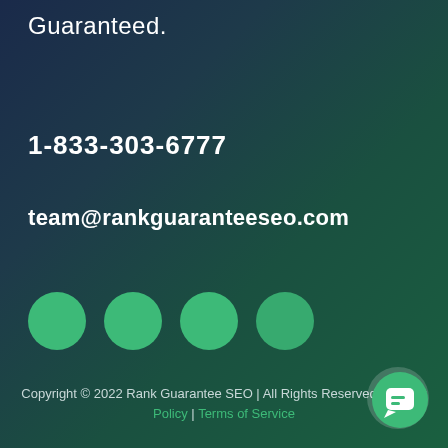Guaranteed.
1-833-303-6777
team@rankguaranteeseo.com
[Figure (illustration): Four green circles representing social media icons]
Copyright © 2022 Rank Guarantee SEO | All Rights Reserved. Privacy Policy | Terms of Service
[Figure (illustration): Chat widget button with speech bubble icon in bottom right corner]